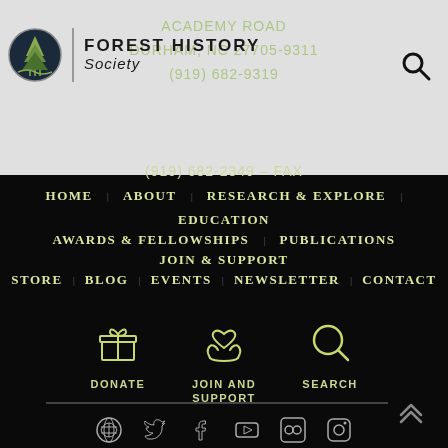[Figure (logo): Forest History Society logo with circular tree emblem and text]
ACADEMY ROAD
DURHAM, NC 27705-9311
(919) 682-9319
(919) 682-2349 - FAX
HOME  ABOUT  RESEARCH & EXPLORE  EDUCATION  AWARDS & FELLOWSHIPS  PUBLICATIONS  JOIN & SUPPORT  STORE  BLOG  EVENTS  NEWSLETTER  CONTACT
[Figure (infographic): Three icons: gift box (DONATE), hands holding heart (JOIN AND SUPPORT), magnifying glass (SEARCH)]
[Figure (infographic): Social media icons: WordPress, Twitter, Facebook, YouTube, Flickr, Instagram]